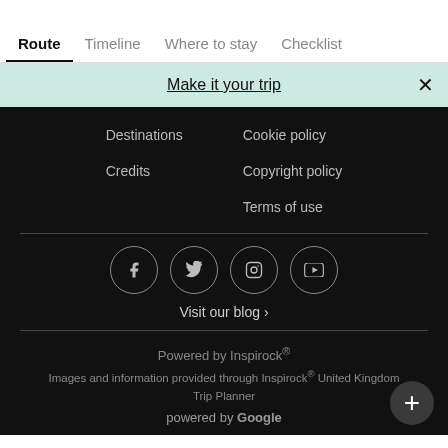Route   Timeline   Where to stay   Checklist
Make it your trip  ×
Destinations
Credits
Cookie policy
Copyright policy
Terms of use
[Figure (other): Social media icons: Facebook, Twitter, Instagram, YouTube — each in a circular border]
Visit our blog ›
Powered by Inspirock®
Images and information provided through Inspirock® United Kingdom Trip Planner
powered by Google